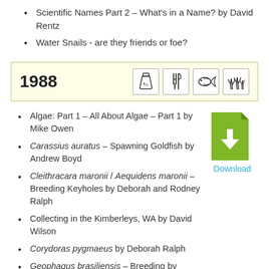Scientific Names Part 2 – What's in a Name? by David Rentz
Water Snails - are they friends or foe?
1988
[Figure (illustration): Four icon boxes: chemistry flask, cutlery/food, fish, and aquatic plants]
Algae: Part 1 – All About Algae – Part 1 by Mike Owen
Carassius auratus – Spawning Goldfish by Andrew Boyd
Cleithracara maronii / Aequidens maronii – Breeding Keyholes by Deborah and Rodney Ralph
Collecting in the Kimberleys, WA by David Wilson
Corydoras pygmaeus by Deborah Ralph
Geophagus brasiliensis – Breeding by
[Figure (illustration): Green download icon with down arrow and Download link text below]